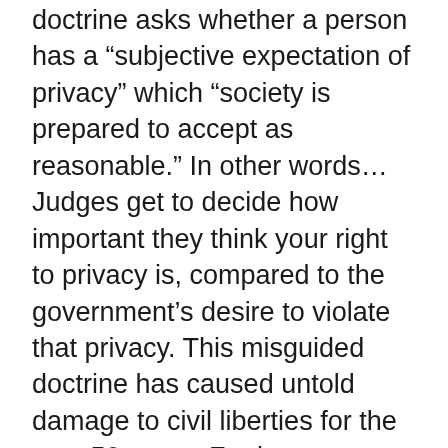doctrine asks whether a person has a "subjective expectation of privacy" which "society is prepared to accept as reasonable." In other words...
Judges get to decide how important they think your right to privacy is, compared to the government's desire to violate that privacy. This misguided doctrine has caused untold damage to civil liberties for the past 50 years. For instance...
Justice Brennan wrote a terrible decision in 1966 ruling that the police can, without a warrant, withdraw blood from an unconscious person to test for alcohol. The excuse was that alcohol in the body degrades, so the police didn't have time to seek a warrant. But...
The Supreme Court stepped back from that rationale in 2013, ruling that the police must have some other emergency reason (aside from normal body